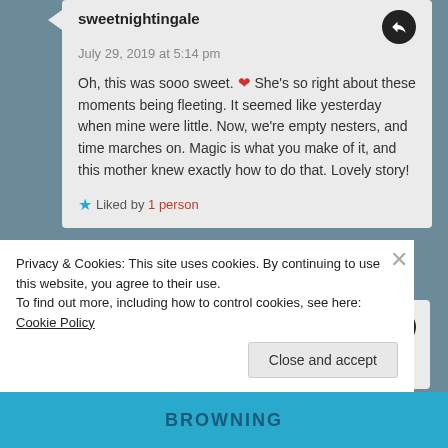sweetnightingale
July 29, 2019 at 5:14 pm
Oh, this was sooo sweet. ❤ She's so right about these moments being fleeting. It seemed like yesterday when mine were little. Now, we're empty nesters, and time marches on. Magic is what you make of it, and this mother knew exactly how to do that. Lovely story!
Liked by 1 person
Mena Buchner
July 29, 2019 at 8:35 pm
Privacy & Cookies: This site uses cookies. By continuing to use this website, you agree to their use.
To find out more, including how to control cookies, see here: Cookie Policy
Close and accept